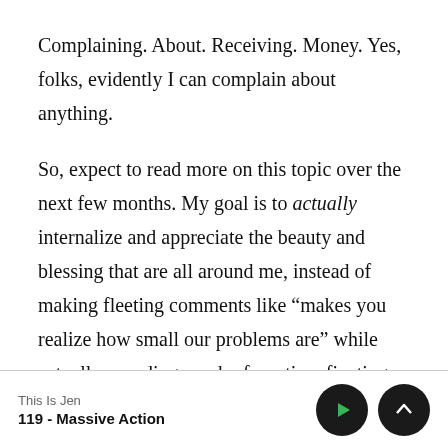Complaining. About. Receiving. Money. Yes, folks, evidently I can complain about anything.

So, expect to read more on this topic over the next few months. My goal is to actually internalize and appreciate the beauty and blessing that are all around me, instead of making fleeting comments like “makes you realize how small our problems are” while actually spending much of my time fixating on said small problems.
This Is Jen
119 - Massive Action